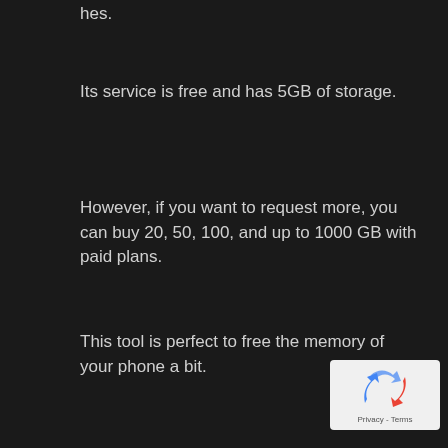hes.
Its service is free and has 5GB of storage.
However, if you want to request more, you can buy 20, 50, 100, and up to 1000 GB with paid plans.
This tool is perfect to free the memory of your phone a bit.
[Figure (logo): reCAPTCHA badge with blue and red recycle-style arrow logo and Privacy - Terms text]